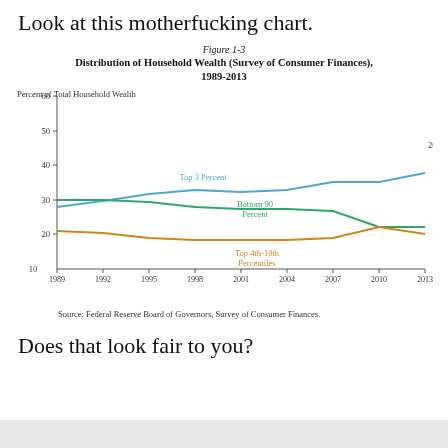Look at this motherfucking chart.
[Figure (line-chart): Figure 1-3 Distribution of Household Wealth (Survey of Consumer Finances), 1989-2013]
Source: Federal Reserve Board of Governors, Survey of Consumer Finances.
Does that look fair to you?